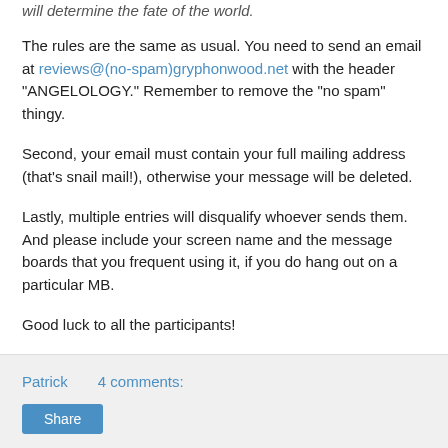will determine the fate of the world.
The rules are the same as usual. You need to send an email at reviews@(no-spam)gryphonwood.net with the header "ANGELOLOGY." Remember to remove the "no spam" thingy.
Second, your email must contain your full mailing address (that's snail mail!), otherwise your message will be deleted.
Lastly, multiple entries will disqualify whoever sends them. And please include your screen name and the message boards that you frequent using it, if you do hang out on a particular MB.
Good luck to all the participants!
Patrick   4 comments:   Share